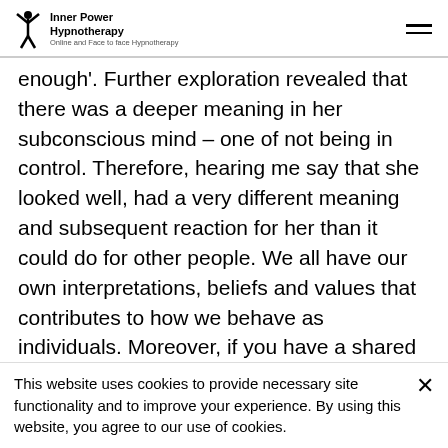Inner Power Hypnotherapy
enough'.  Further exploration revealed that there was a deeper meaning in her subconscious mind – one of not being in control.  Therefore, hearing me say that she looked well, had a very different meaning and subsequent reaction for her than it could do for other people.  We all have our own interpretations, beliefs and values that contributes to how we behave as individuals. Moreover, if you have a shared belief system with someone or a group or even a nation, then you're more likely to follow similar patterns - for example, how our culture may influence how we respond to a positive
This website uses cookies to provide necessary site functionality and to improve your experience. By using this website, you agree to our use of cookies.